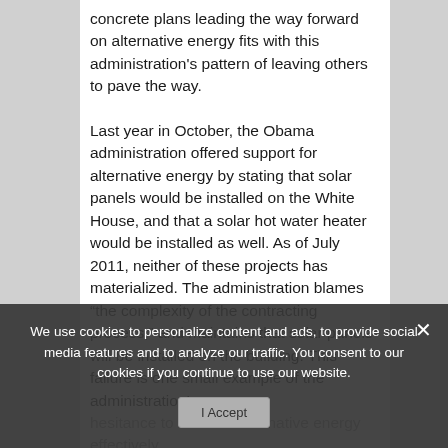concrete plans leading the way forward on alternative energy fits with this administration's pattern of leaving others to pave the way.
Last year in October, the Obama administration offered support for alternative energy by stating that solar panels would be installed on the White House, and that a solar hot water heater would be installed as well. As of July 2011, neither of these projects has materialized. The administration blames "the complexity of the contracting process," and maintains that solar panels will be installed on the building. This failure is one small example of the administration's hesitance to address alternative energy effectively.
Two presidents previously made use of solar energy: Jimmy Carter had solar panels installed on the White House back in the
We use cookies to personalize content and ads, to provide social media features and to analyze our traffic. You consent to our cookies if you continue to use our website.